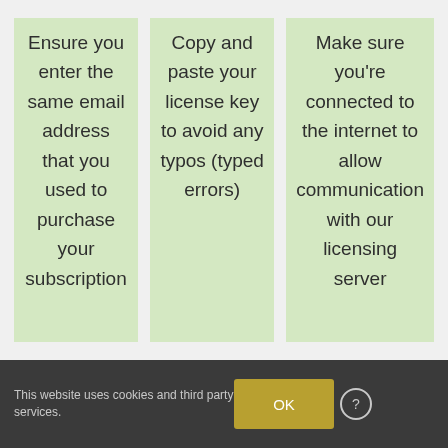Ensure you enter the same email address that you used to purchase your subscription
Copy and paste your license key to avoid any typos (typed errors)
Make sure you're connected to the internet to allow communication with our licensing server
This website uses cookies and third party services.